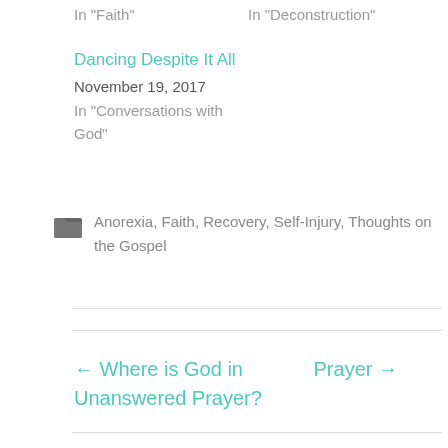In "Faith"
In "Deconstruction"
Dancing Despite It All
November 19, 2017
In "Conversations with God"
Anorexia, Faith, Recovery, Self-Injury, Thoughts on the Gospel
← Where is God in Unanswered Prayer?
Prayer →